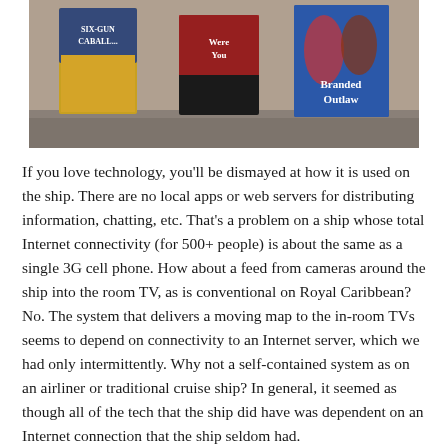[Figure (photo): Photograph of several DVD/Blu-ray cases standing upright on a surface, including titles 'Six-Gun Caballero', 'Were You', and 'Branded Outlaw'.]
If you love technology, you'll be dismayed at how it is used on the ship. There are no local apps or web servers for distributing information, chatting, etc. That's a problem on a ship whose total Internet connectivity (for 500+ people) is about the same as a single 3G cell phone. How about a feed from cameras around the ship into the room TV, as is conventional on Royal Caribbean? No. The system that delivers a moving map to the in-room TVs seems to depend on connectivity to an Internet server, which we had only intermittently. Why not a self-contained system as on an airliner or traditional cruise ship? In general, it seemed as though all of the tech that the ship did have was dependent on an Internet connection that the ship seldom had.